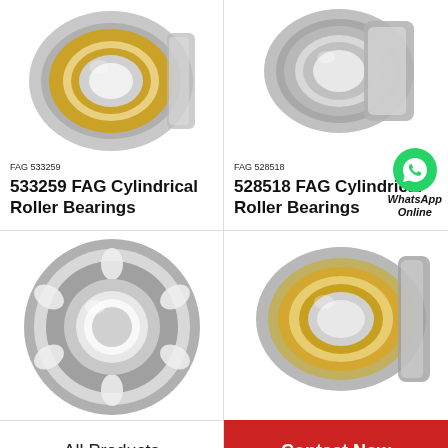[Figure (photo): FAG 533259 cylindrical roller bearing, side angle view, gold/silver colored]
FAG 533259
533259 FAG Cylindrical Roller Bearings
[Figure (photo): FAG 528518 cylindrical roller bearing, angled view, silver/gray colored]
FAG 528518
528518 FAG Cylindrical Roller Bearings
[Figure (photo): WhatsApp Online contact icon (green chat bubble with phone icon)]
[Figure (photo): Cylindrical roller bearing, front-face view showing roller cage, silver/gray]
[Figure (photo): FAG cylindrical roller bearing, gold/silver, angled perspective view]
All Products
Contact Now